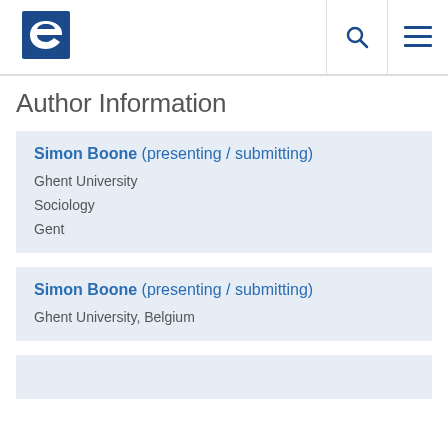Author Information page header with logo and navigation icons
Author Information
Simon Boone (presenting / submitting)
Ghent University
Sociology
Gent
Simon Boone (presenting / submitting)
Ghent University, Belgium